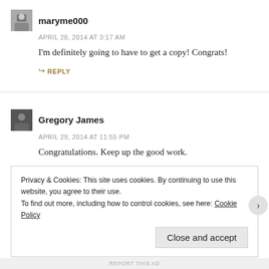[Figure (other): Avatar thumbnail for user maryme000, small grayscale photo]
maryme000
APRIL 28, 2014 AT 3:17 AM
I'm definitely going to have to get a copy! Congrats!
↪ REPLY
[Figure (other): Avatar thumbnail for user Gregory James, small grayscale photo]
Gregory James
APRIL 29, 2014 AT 11:55 PM
Congratulations. Keep up the good work.
↪ REPLY
Privacy & Cookies: This site uses cookies. By continuing to use this website, you agree to their use.
To find out more, including how to control cookies, see here: Cookie Policy
Close and accept